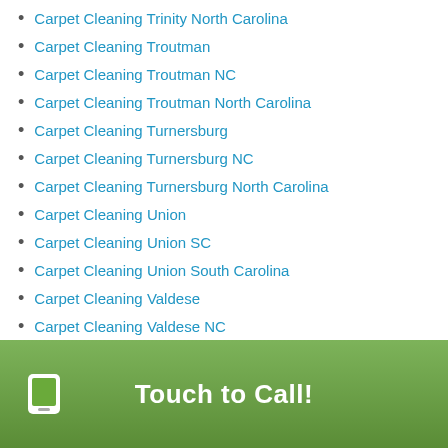Carpet Cleaning Trinity North Carolina
Carpet Cleaning Troutman
Carpet Cleaning Troutman NC
Carpet Cleaning Troutman North Carolina
Carpet Cleaning Turnersburg
Carpet Cleaning Turnersburg NC
Carpet Cleaning Turnersburg North Carolina
Carpet Cleaning Union
Carpet Cleaning Union SC
Carpet Cleaning Union South Carolina
Carpet Cleaning Valdese
Carpet Cleaning Valdese NC
Carpet Cleaning Valdese North Carolina
Carpet Cleaning Vale
Carpet Cleaning Vale NC
Carpet Cleaning Vale North Carolina
Carpet Cleaning Van Wyck
Carpet Cleaning Van Wyck SC
Touch to Call!